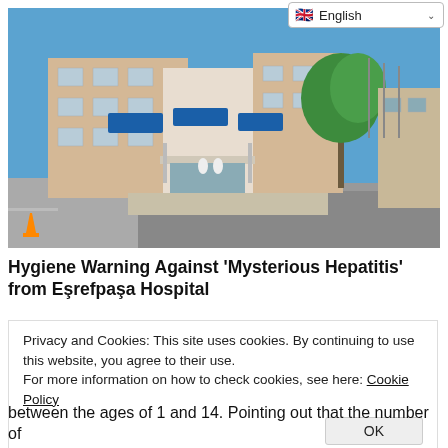[Figure (photo): Exterior photo of Eşrefpaşa Hospital building, a multi-story white and brick structure with blue signage, green tree, clear blue sky, street in foreground with a traffic cone]
Hygiene Warning Against 'Mysterious Hepatitis' from Eşrefpaşa Hospital
Privacy and Cookies: This site uses cookies. By continuing to use this website, you agree to their use.
For more information on how to check cookies, see here: Cookie Policy
between the ages of 1 and 14. Pointing out that the number of